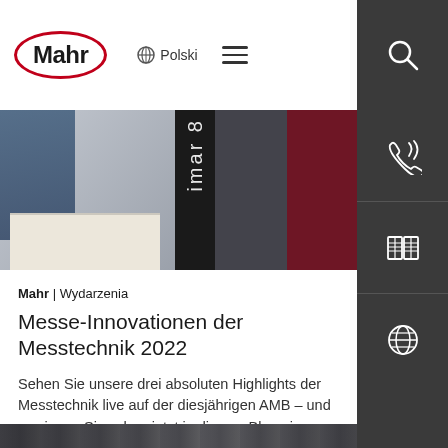Mahr | Polski
[Figure (photo): Trade show / exhibition photo showing measurement technology equipment with a dark vertical display stand and burgundy panel]
Mahr | Wydarzenia
Messe-Innovationen der Messtechnik 2022
Sehen Sie unsere drei absoluten Highlights der Messtechnik live auf der diesjährigen AMB – und gewinnen Sie schon jetzt in diesem Blog einen Video Eindruck...
[Figure (photo): Partial bottom strip of another trade show photo]